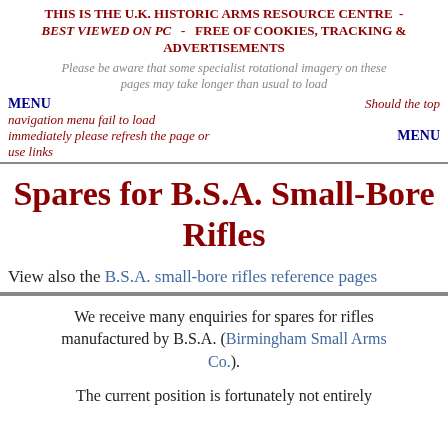THIS IS THE U.K. HISTORIC ARMS RESOURCE CENTRE - BEST VIEWED ON PC - FREE OF COOKIES, TRACKING & ADVERTISEMENTS
Please be aware that some specialist rotational imagery on these pages may take longer than usual to load
MENU   Should the top navigation menu fail to load immediately please refresh the page or use links   MENU
Spares for B.S.A. Small-Bore Rifles
View also the B.S.A. small-bore rifles reference pages
We receive many enquiries for spares for rifles manufactured by B.S.A. (Birmingham Small Arms Co.).
The current position is fortunately not entirely